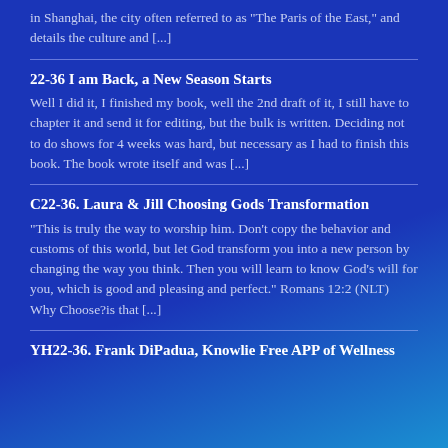in Shanghai, the city often referred to as “The Paris of the East,” and details the culture and [...]
22-36 I am Back, a New Season Starts
Well I did it, I finished my book, well the 2nd draft of it, I still have to chapter it and send it for editing, but the bulk is written. Deciding not to do shows for 4 weeks was hard, but necessary as I had to finish this book. The book wrote itself and was [...]
C22-36. Laura & Jill Choosing Gods Transformation
“This is truly the way to worship him. Don’t copy the behavior and customs of this world, but let God transform you into a new person by changing the way you think. Then you will learn to know God’s will for you, which is good and pleasing and perfect.” Romans 12:2 (NLT) Why Choose?is  that [...]
YH22-36. Frank DiPadua, Knowlie Free APP of Wellness